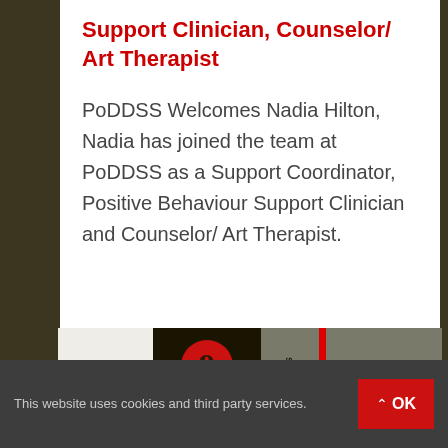Support Clinician, Counselor/ Art Therapist
PoDDSS Welcomes Nadia Hilton, Nadia has joined the team at PoDDSS as a Support Coordinator, Positive Behaviour Support Clinician and Counselor/ Art Therapist.
[Figure (screenshot): Website banner strip showing logos including a red circular logo, 'sabilit' text, a red vertical bar, and 'Start Small' text in yellow and white on grey background]
This website uses cookies and third party services.